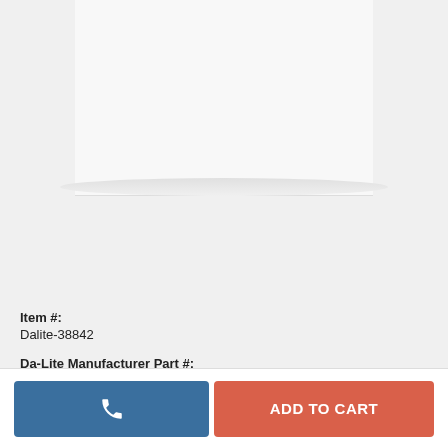[Figure (photo): Product image area showing a projector screen or similar flat panel product against a light gray background]
Item #:
Dalite-38842
Da-Lite Manufacturer Part #: